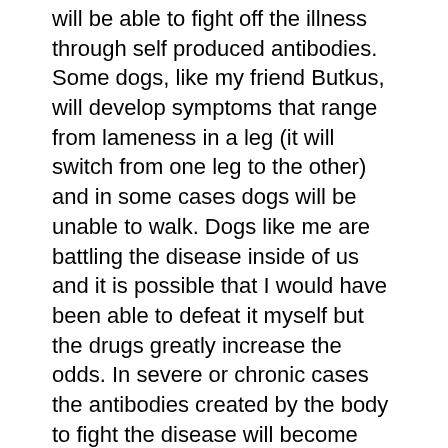will be able to fight off the illness through self produced antibodies.  Some dogs, like my friend Butkus, will develop symptoms that range from lameness in a leg (it will switch from one leg to the other) and in some cases dogs will be unable to walk.  Dogs like me are battling the disease inside of us and it is possible that I would have been able to defeat it myself but the drugs greatly increase the odds.  In severe or chronic cases the antibodies created by the body to fight the disease will become trapped in the kidneys causing damage but this happens in less than one percent of the cases.  If your dog does contracts Limes there is an excellent chance of full recovery but there is also a vaccine to protect us from the disease and tick prevention medicine is also still needed.
Wow, that left me confused.  All I can tell you if you see a little bloodsucker selling fruit stay away or you will get Limes.
But right now I am getting a pill inside a piece of